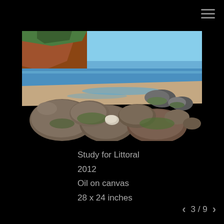[Figure (illustration): Oil painting of a rocky coastal shoreline. Foreground shows large rounded boulders and stones covered with green algae. Middle ground shows blue ocean water with gentle waves meeting the rocky beach. Background shows reddish-brown coastal cliffs on the left and a clear blue sky. The scene is rendered in a realistic oil painting style.]
Study for Littoral
2012
Oil on canvas
28 x 24 inches
3 / 9